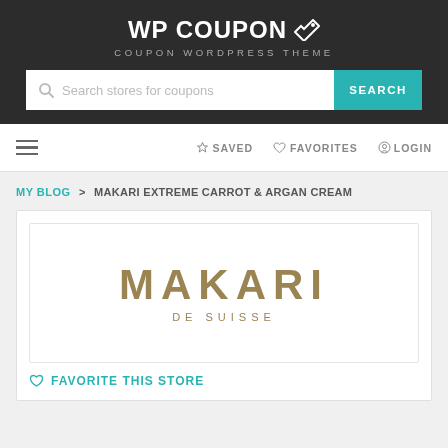WP COUPON | COUPON WORDPRESS THEME
[Figure (screenshot): Search bar with placeholder 'Search stores for coupons' and teal SEARCH button]
MY BLOG > MAKARI EXTREME CARROT & ARGAN CREAM
[Figure (logo): Makari De Suisse brand logo in gold/olive color]
FAVORITE THIS STORE